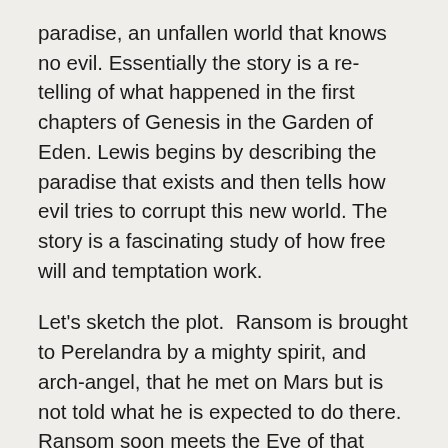paradise, an unfallen world that knows no evil. Essentially the story is a re-telling of what happened in the first chapters of Genesis in the Garden of Eden. Lewis begins by describing the paradise that exists and then tells how evil tries to corrupt this new world. The story is a fascinating study of how free will and temptation work.
Let's sketch the plot.  Ransom is brought to Perelandra by a mighty spirit, and arch-angel, that he met on Mars but is not told what he is expected to do there.  Ransom soon meets the Eve of that world, who is named Tinidril and is also called The Green Lady.  She walks completely with God and has free will, although she does not know it.  She begins to learn from Ransom, but shortly after they meet Weston arrives on the scene.  He begins to tempt her to prove that she has free will by disobeying God. R...